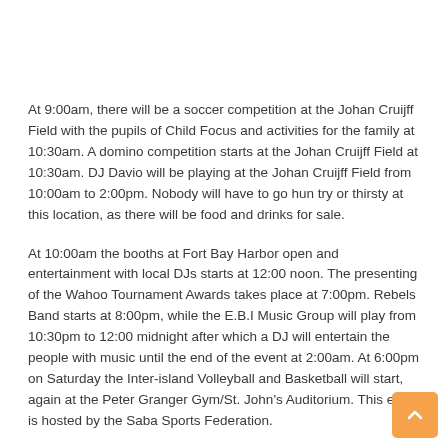At 9:00am, there will be a soccer competition at the Johan Cruijff Field with the pupils of Child Focus and activities for the family at 10:30am. A domino competition starts at the Johan Cruijff Field at 10:30am. DJ Davio will be playing at the Johan Cruijff Field from 10:00am to 2:00pm. Nobody will have to go hun try or thirsty at this location, as there will be food and drinks for sale.
At 10:00am the booths at Fort Bay Harbor open and entertainment with local DJs starts at 12:00 noon. The presenting of the Wahoo Tournament Awards takes place at 7:00pm. Rebels Band starts at 8:00pm, while the E.B.I Music Group will play from 10:30pm to 12:00 midnight after which a DJ will entertain the people with music until the end of the event at 2:00am. At 6:00pm on Saturday the Inter-island Volleyball and Basketball will start, again at the Peter Granger Gym/St. John's Auditorium. This event is hosted by the Saba Sports Federation.